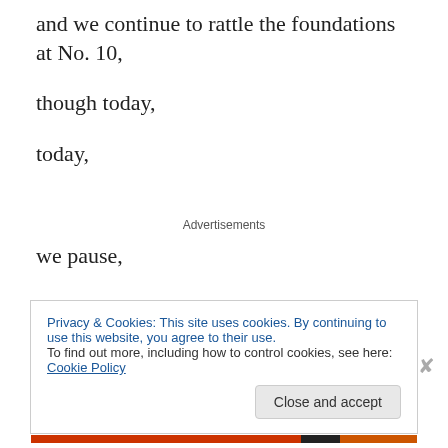and we continue to rattle the foundations at No. 10,
though today,
today,
Advertisements
we pause,
today we say,
Privacy & Cookies: This site uses cookies. By continuing to use this website, you agree to their use.
To find out more, including how to control cookies, see here: Cookie Policy
Close and accept